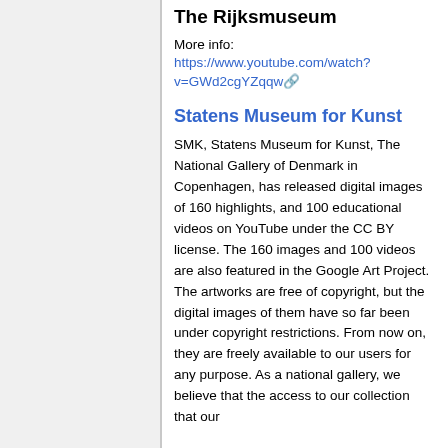The Rijksmuseum
More info:
https://www.youtube.com/watch?v=GWd2cgYZqqw
Statens Museum for Kunst
SMK, Statens Museum for Kunst, The National Gallery of Denmark in Copenhagen, has released digital images of 160 highlights, and 100 educational videos on YouTube under the CC BY license. The 160 images and 100 videos are also featured in the Google Art Project. The artworks are free of copyright, but the digital images of them have so far been under copyright restrictions. From now on, they are freely available to our users for any purpose. As a national gallery, we believe that the access to our collection that our…